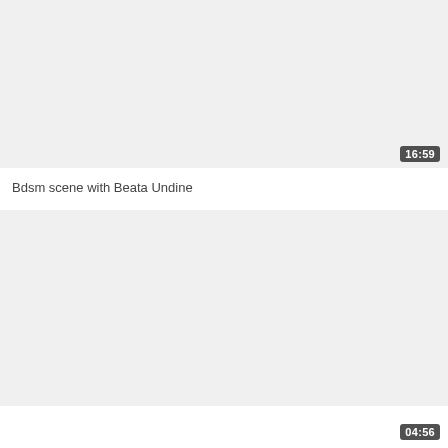[Figure (screenshot): Video thumbnail placeholder (light gray background) for first video]
16:59
Bdsm scene with Beata Undine
[Figure (screenshot): Video thumbnail placeholder (light gray background) for second video]
04:56